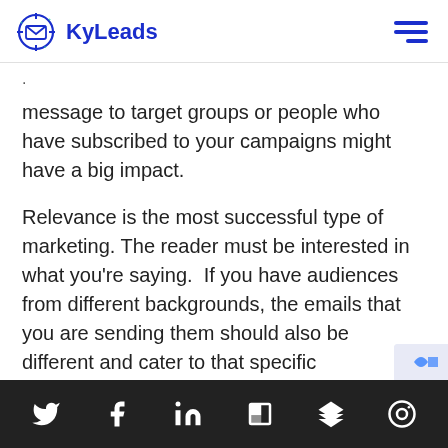KyLeads
message to target groups or people who have subscribed to your campaigns might have a big impact.
Relevance is the most successful type of marketing. The reader must be interested in what you’re saying.  If you have audiences from different backgrounds, the emails that you are sending them should also be different and cater to that specific demographic. Your message must adapt depending on the audience.
Twitter, Facebook, LinkedIn, Flipboard, Buffer, Instragram (social media icons)